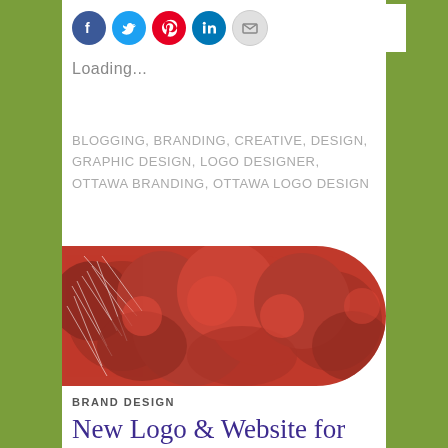[Figure (infographic): Social media sharing icons: Facebook (blue circle), Twitter (light blue circle), Pinterest (red circle), LinkedIn (blue circle), Email (grey circle)]
Loading...
BLOGGING, BRANDING, CREATIVE, DESIGN, GRAPHIC DESIGN, LOGO DESIGNER, OTTAWA BRANDING, OTTAWA LOGO DESIGN
[Figure (photo): Close-up photo of red fluffy flowers (possibly Calliandra or similar), with a rounded right edge, on a white background]
BRAND DESIGN
New Logo & Website for Angela's Cookie